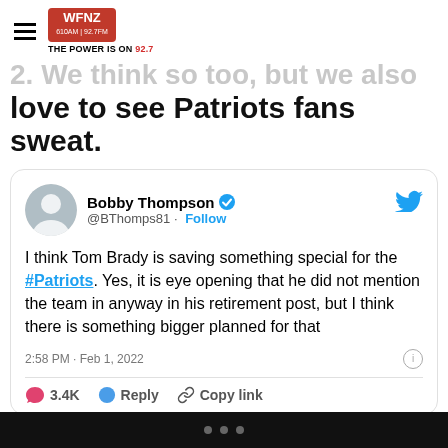WFNZ — THE POWER IS ON 92.7
2. We think so too, but we also love to see Patriots fans sweat.
[Figure (screenshot): Embedded tweet from Bobby Thompson (@BThomps81) with verified badge and Follow button. Tweet text: 'I think Tom Brady is saving something special for the #Patriots. Yes, it is eye opening that he did not mention the team in anyway in his retirement post, but I think there is something bigger planned for that'. Posted 2:58 PM · Feb 1, 2022. 3.4K likes. Actions: Reply, Copy link.]